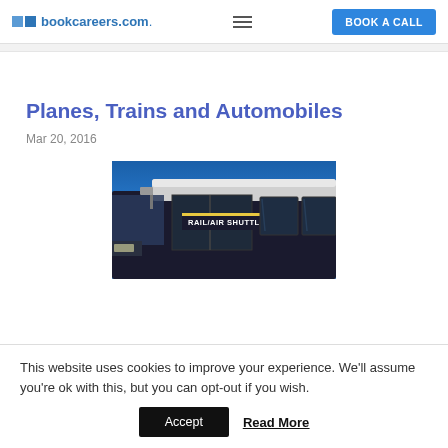bookcareers.com
Planes, Trains and Automobiles
Mar 20, 2016
[Figure (photo): Photo of the front/top of a transit bus labeled RAIL/AIR SHUTTLE against a blue sky]
This website uses cookies to improve your experience. We'll assume you're ok with this, but you can opt-out if you wish.
Accept   Read More